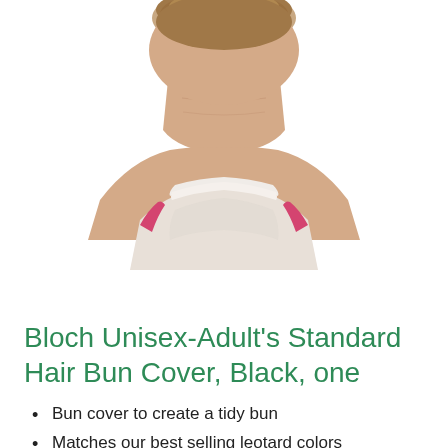[Figure (photo): Back view of a person's head and neck, with short hair, wearing a white and pink gymnastic leotard, on a white background]
Bloch Unisex-Adult's Standard Hair Bun Cover, Black, one
Bun cover to create a tidy bun
Matches our best selling leotard colors